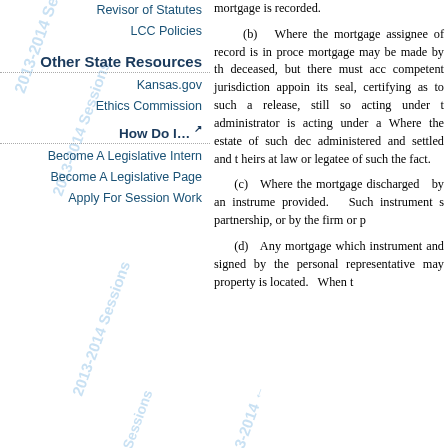Revisor of Statutes
LCC Policies
Other State Resources
Kansas.gov
Ethics Commission
How Do I... ↗
Become A Legislative Intern
Become A Legislative Page
Apply For Session Work
mortgage is recorded.
(b) Where the mortgage assignee of record is in proce... mortgage may be made by th... deceased, but there must acc... competent jurisdiction appoin... its seal, certifying as to such a... release, still so acting under t... administrator is acting under a... Where the estate of such dec... administered and settled and t... heirs at law or legatee of such... the fact.
(c) Where the mortga... discharged by an instrume... provided. Such instrument s... partnership, or by the firm or p...
(d) Any mortgage whi... instrument and signed by the... personal representative may... property is located. When t...